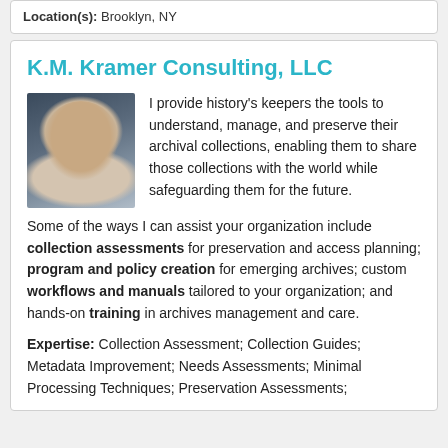Location(s): Brooklyn, NY
K.M. Kramer Consulting, LLC
[Figure (photo): Headshot of a woman smiling, with a blue/grey background]
I provide history's keepers the tools to understand, manage, and preserve their archival collections, enabling them to share those collections with the world while safeguarding them for the future.
Some of the ways I can assist your organization include collection assessments for preservation and access planning; program and policy creation for emerging archives; custom workflows and manuals tailored to your organization; and hands-on training in archives management and care.
Expertise: Collection Assessment; Collection Guides; Metadata Improvement; Needs Assessments; Minimal Processing Techniques; Preservation Assessments;